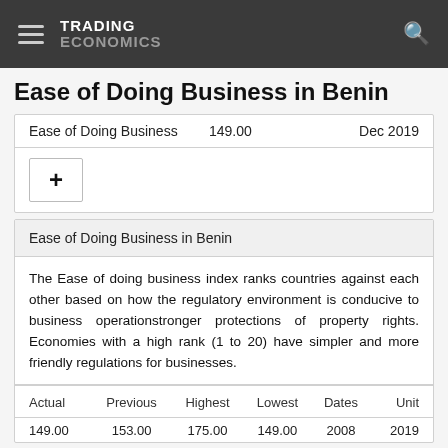TRADING ECONOMICS
Ease of Doing Business in Benin
|  |  |  |
| --- | --- | --- |
| Ease of Doing Business | 149.00 | Dec 2019 |
Ease of Doing Business in Benin
The Ease of doing business index ranks countries against each other based on how the regulatory environment is conducive to business operationstronger protections of property rights. Economies with a high rank (1 to 20) have simpler and more friendly regulations for businesses.
| Actual | Previous | Highest | Lowest | Dates | Unit |
| --- | --- | --- | --- | --- | --- |
| 149.00 | 153.00 | 175.00 | 149.00 | 2008 | 2019 |